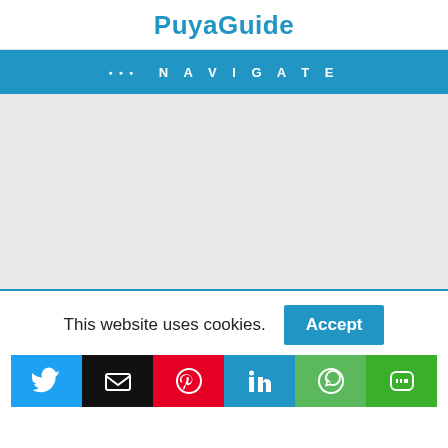PuyaGuide
••• NAVIGATE
[Figure (screenshot): Light grey empty content area representing a website main content region]
This website uses cookies.
[Figure (infographic): Row of social media share buttons: Twitter, Email, Pinterest, LinkedIn, WhatsApp, LINE]